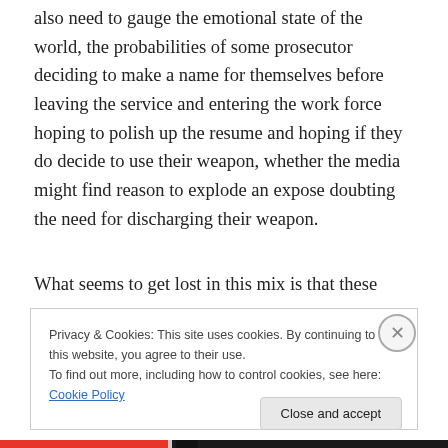also need to gauge the emotional state of the world, the probabilities of some prosecutor deciding to make a name for themselves before leaving the service and entering the work force hoping to polish up the resume and hoping if they do decide to use their weapon, whether the media might find reason to explode an expose doubting the need for discharging their weapon.
What seems to get lost in this mix is that these young
Privacy & Cookies: This site uses cookies. By continuing to use this website, you agree to their use.
To find out more, including how to control cookies, see here: Cookie Policy